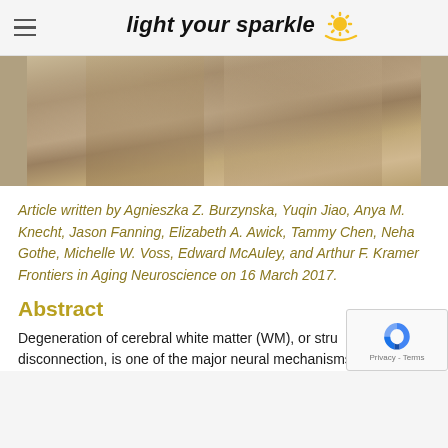light your sparkle
[Figure (photo): Sepia-toned photograph of two people dancing or embracing, showing their torsos and arms, one appears to be wearing a floral dress and the other a plain t-shirt with a watch.]
Article written by Agnieszka Z. Burzynska, Yuqin Jiao, Anya M. Knecht, Jason Fanning, Elizabeth A. Awick, Tammy Chen, Neha Gothe, Michelle W. Voss, Edward McAuley, and Arthur F. Kramer Frontiers in Aging Neuroscience on 16 March 2017.
Abstract
Degeneration of cerebral white matter (WM), or stru disconnection, is one of the major neural mechanisms